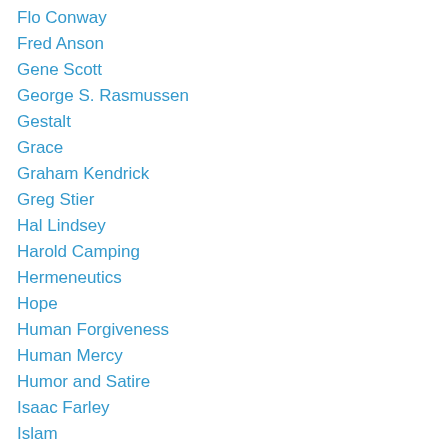Flo Conway
Fred Anson
Gene Scott
George S. Rasmussen
Gestalt
Grace
Graham Kendrick
Greg Stier
Hal Lindsey
Harold Camping
Hermeneutics
Hope
Human Forgiveness
Human Mercy
Humor and Satire
Isaac Farley
Islam
Jackie Davidson
Jason Wallace
Jaxon Washburn